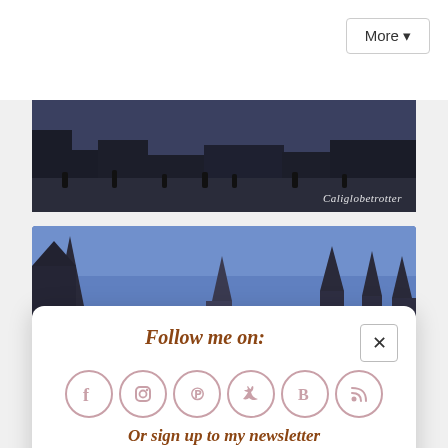[Figure (screenshot): Top navigation bar with More dropdown button]
[Figure (photo): Panoramic street scene at dusk with pedestrians and buildings, watermark 'Caliglobetrotter']
[Figure (photo): Gothic church spires and rooftops against a blue dusk sky]
Follow me on:
[Figure (infographic): Social media icons: Facebook, Instagram, Pinterest, Twitter, Bloglovin, RSS]
Or sign up to my newsletter
Subscribe  Sign Up!
[Figure (photo): Blue sky strip at bottom]